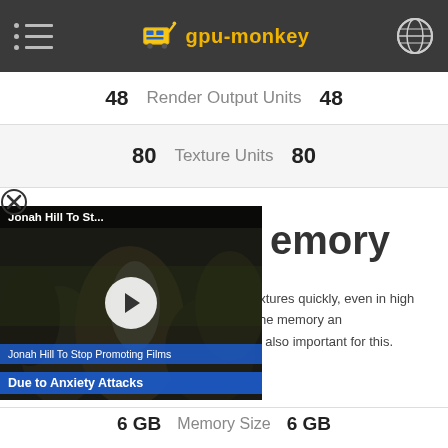gpu-monkey
48 Render Output Units 48
80 Texture Units 80
[Figure (screenshot): Video ad overlay showing 'Jonah Hill To St...' with play button, caption 'Jonah Hill To Stop Promoting Films Due to Anxiety Attacks', with close (X) button top-left]
emory
portant to process large and detailed textures quickly, even in high resolutions. The speed of the memory and the resulting memory bandwidth are also important for this.
6 GB Memory Size 6 GB